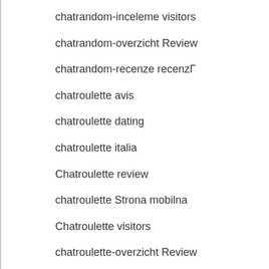chatrandom-inceleme visitors
chatrandom-overzicht Review
chatrandom-recenze recenzГ
chatroulette avis
chatroulette dating
chatroulette italia
Chatroulette review
chatroulette Strona mobilna
Chatroulette visitors
chatroulette-overzicht Review
chatroulette-recenze Recenze
Chatspin review